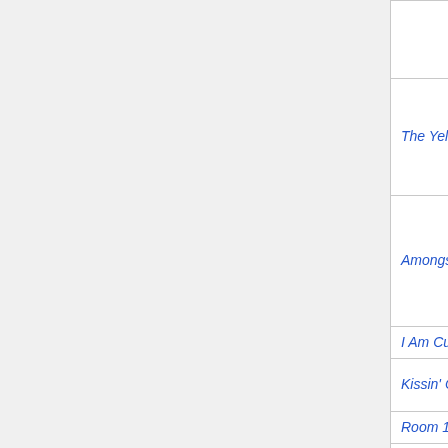| Film Title | Actor | Role/Character |
| --- | --- | --- |
|  |  | Apache / Com… |
| The Yellow One | Lex Barker | Kara… |
| The Yellow One | Marianne Hold | Anne… |
| The Yellow One | Ralf Wolter | Hads… / Oma… |
| Amongst Vultures | Walter Barnes | Mart… |
| Amongst Vultures | Renato Baldini | Judg… |
| Amongst Vultures | Vladimir Medar | Bake… |
| Amongst Vultures |  | Settl… |
| I Am Cuba (Soy Cuba) |  | Cuba… |
| Kissin' Cousins | Arthur O'Connell | Papp… |
| Room 13 | Erik Radolf | Amb… |
| Mark of the Tortoise | Hans Paetsch | Sir C… |
| The Seventh Victim |  |  |
| The Heroes of… | Michael… |  |